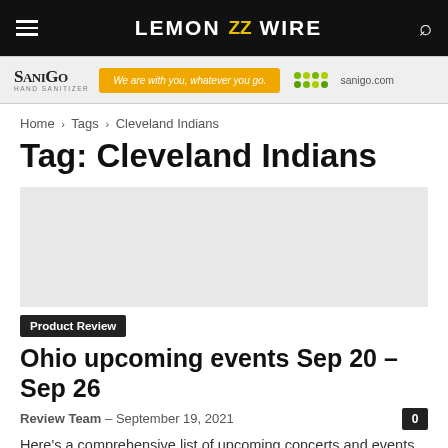LEMON ZZ WIRE
[Figure (other): SaniGo hand sanitizer advertisement banner with logo, orange button saying 'We are with you, wherever you go.', green dots graphic, and sanigo.com]
Home › Tags › Cleveland Indians
Tag: Cleveland Indians
[Figure (other): Article image placeholder (light gray area)]
Product Review
Ohio upcoming events Sep 20 – Sep 26
Review Team – September 19, 2021
Here's a comprehensive list of upcoming concerts and events in Ohio. We've organized the list by city, showing all events from